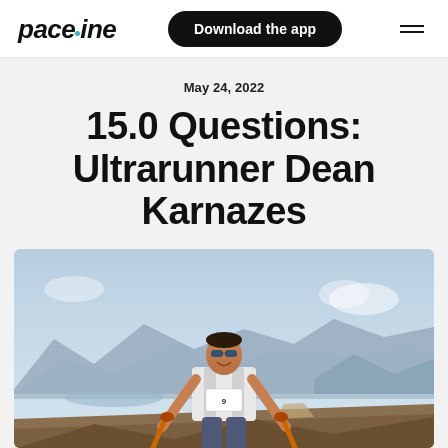paceline | Download the app
May 24, 2022
15.0 Questions: Ultrarunner Dean Karnazes
[Figure (photo): A man wearing sunglasses, a race bib, and a hydration vest poses with trekking poles on a mountain summit with expansive mountain and valley views behind him.]